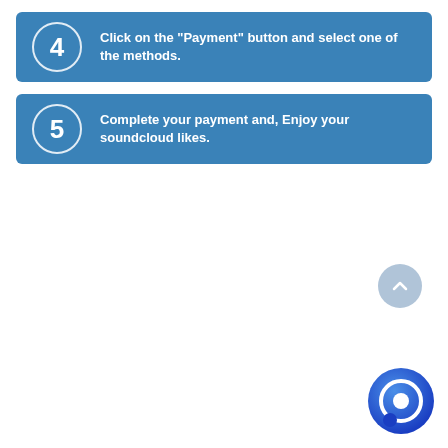4 Click on the "Payment" button and select one of the methods.
5 Complete your payment and, Enjoy your soundcloud likes.
[Figure (illustration): Scroll-to-top button: a grey circle with a white upward-pointing chevron arrow.]
[Figure (logo): Chat/messaging icon: a dark blue circle with a white speech bubble icon inside, gradient from blue to darker blue.]